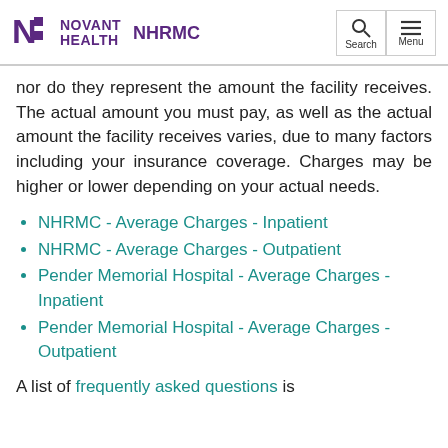Novant Health NHRMC
nor do they represent the amount the facility receives. The actual amount you must pay, as well as the actual amount the facility receives varies, due to many factors including your insurance coverage. Charges may be higher or lower depending on your actual needs.
NHRMC - Average Charges - Inpatient
NHRMC - Average Charges - Outpatient
Pender Memorial Hospital - Average Charges - Inpatient
Pender Memorial Hospital - Average Charges - Outpatient
A list of frequently asked questions is